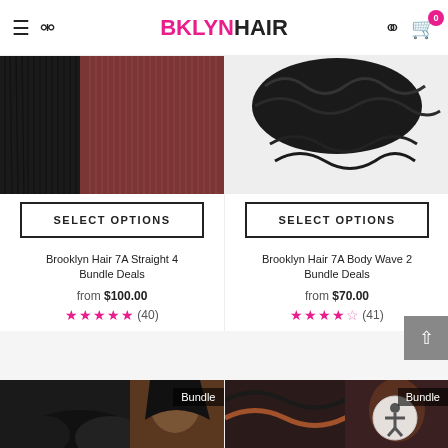BKLYNHAIR
[Figure (screenshot): Product image: Brooklyn Hair 7A Straight 4 Bundle Deals - straight black hair with model]
SELECT OPTIONS
Brooklyn Hair 7A Straight 4 Bundle Deals
from $100.00
★★★★★ (40)
[Figure (screenshot): Product image: Brooklyn Hair 7A Body Wave 2 Bundle Deals - body wave black hair bundles]
SELECT OPTIONS
Brooklyn Hair 7A Body Wave 2 Bundle Deals
from $70.00
★★★★½ (41)
[Figure (screenshot): Bundle product image bottom left - model with black wavy hair bundles]
[Figure (screenshot): Bundle product image bottom right - model with ombre hair, accessibility icon overlay]